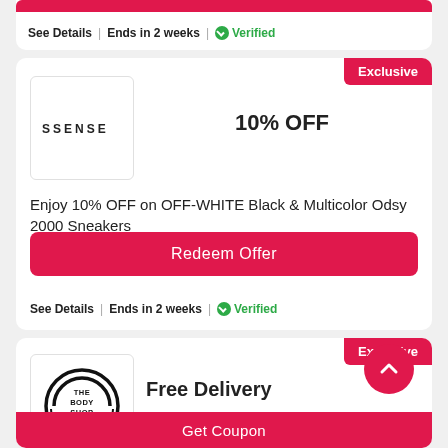See Details | Ends in 2 weeks | ✓Verified
[Figure (logo): SSENSE brand logo in black text on white square box]
10% OFF
Exclusive
Enjoy 10% OFF on OFF-WHITE Black & Multicolor Odsy 2000 Sneakers
Redeem Offer
See Details | Ends in 2 weeks | ✓Verified
[Figure (logo): The Body Shop circular logo]
Free Delivery
Exclusive
The Body Shop Code: Free Delivery On Orders Above KWD 9 + 20% Discount
Get Coupon